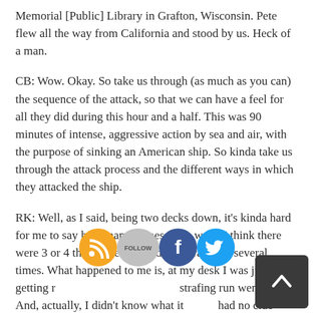Memorial [Public] Library in Grafton, Wisconsin. Pete flew all the way from California and stood by us. Heck of a man.
CB: Wow. Okay. So take us through (as much as you can) the sequence of the attack, so that we can have a feel for all they did during this hour and a half. This was 90 minutes of intense, aggressive action by sea and air, with the purpose of sinking an American ship. So kinda take us through the attack process and the different ways in which they attacked the ship.
RK: Well, as I said, being two decks down, it's kinda hard for me to say how many planes there were. I think there were 3 or 4 that circled around and strafed us several times. What happened to me is, at my desk I was just getting ready to move and the first strafing run went by. And, actually, I didn't know what it was. I had no clue what that was that was hitting the deck above me.
[Figure (infographic): Social media overlay icons: RSS feed (orange), Follow button (gray), Facebook (blue), Twitter (blue), and a dark scroll-to-top button with up arrow]